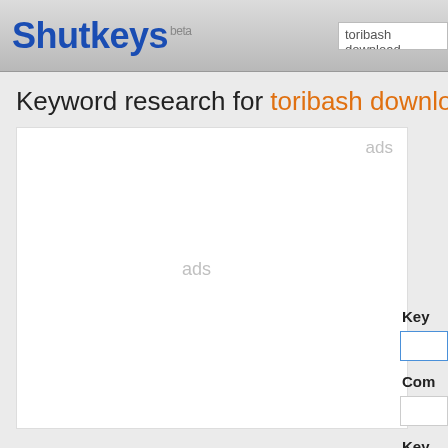Shutkeys beta
toribash download
Keyword research for toribash download
ads
ads
Key
Com
Key